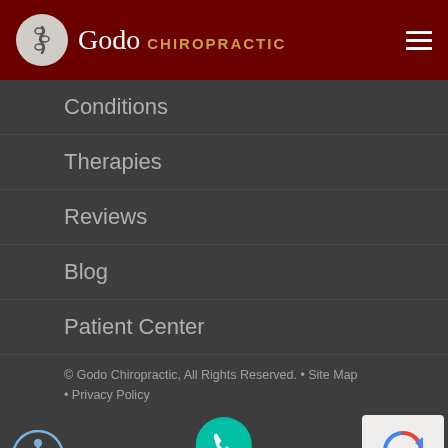Godo Chiropractic
Conditions
Therapies
Reviews
Blog
Patient Center
© Godo Chiropractic, All Rights Reserved. • Site Map • Privacy Policy
[Figure (logo): LocalGold logo with phone icon and accessibility icon at bottom bar]